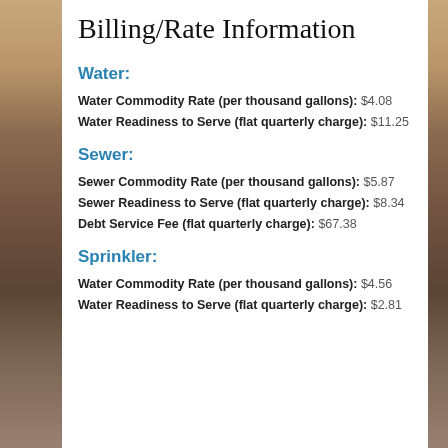Billing/Rate Information
Water:
Water Commodity Rate (per thousand gallons): $4.08
Water Readiness to Serve (flat quarterly charge): $11.25
Sewer:
Sewer Commodity Rate (per thousand gallons): $5.87
Sewer Readiness to Serve (flat quarterly charge): $8.34
Debt Service Fee (flat quarterly charge): $67.38
Sprinkler:
Water Commodity Rate (per thousand gallons): $4.56
Water Readiness to Serve (flat quarterly charge): $2.81